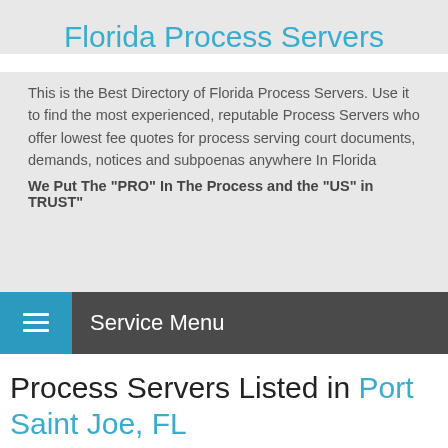Florida Process Servers
This is the Best Directory of Florida Process Servers. Use it to find the most experienced, reputable Process Servers who offer lowest fee quotes for process serving court documents, demands, notices and subpoenas anywhere In Florida
We Put The "PRO" In The Process and the "US" in TRUST"
Service Menu
Process Servers Listed in Port Saint Joe, FL